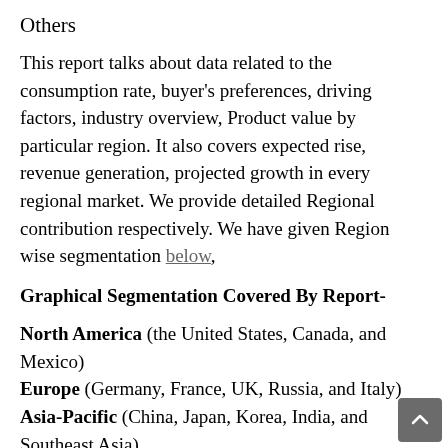Others
This report talks about data related to the consumption rate, buyer's preferences, driving factors, industry overview, Product value by particular region. It also covers expected rise, revenue generation, projected growth in every regional market. We provide detailed Regional contribution respectively. We have given Region wise segmentation below,
Graphical Segmentation Covered By Report-
North America (the United States, Canada, and Mexico)
Europe (Germany, France, UK, Russia, and Italy)
Asia-Pacific (China, Japan, Korea, India, and Southeast Asia)